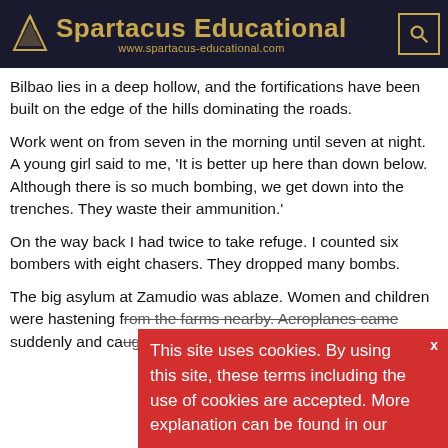Spartacus Educational — www.spartacus-educational.com
Bilbao lies in a deep hollow, and the fortifications have been built on the edge of the hills dominating the roads.
Work went on from seven in the morning until seven at night. A young girl said to me, 'It is better up here than down below. Although there is so much bombing, we get down into the trenches. They waste their ammunition.'
On the way back I had twice to take refuge. I counted six bombers with eight chasers. They dropped many bombs.
The big asylum at Zamudio was ablaze. Women and children were hastening from the farms nearby. Aeroplanes came suddenly and caught numbers of them.
This site uses cookies. By using this site, these terms including the use of cookies are accepted. More explanation can be found in our